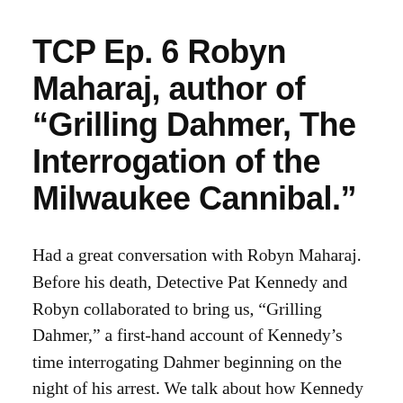TCP Ep. 6 Robyn Maharaj, author of “Grilling Dahmer, The Interrogation of the Milwaukee Cannibal.”
Had a great conversation with Robyn Maharaj. Before his death, Detective Pat Kennedy and Robyn collaborated to bring us, “Grilling Dahmer,” a first-hand account of Kennedy’s time interrogating Dahmer beginning on the night of his arrest. We talk about how Kennedy fostered a relationship with Dahmer which ultimately lead to the identification of all